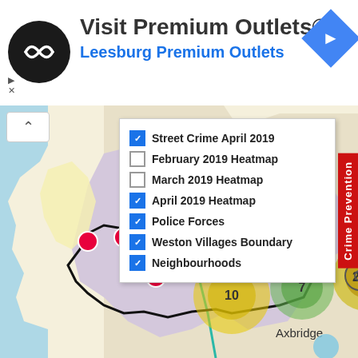[Figure (other): Advertisement banner for Visit Premium Outlets® - Leesburg Premium Outlets with circular logo and navigation arrow icon]
[Figure (map): Interactive crime map showing street crime locations (pink/red circles), heatmap clusters (yellow/green circles labeled 10, 22, 7), and map boundaries over a geographic area including Axbridge. Legend overlay showing checkboxes for: Street Crime April 2019 (checked), February 2019 Heatmap (unchecked), March 2019 Heatmap (unchecked), April 2019 Heatmap (checked), Police Forces (checked), Weston Villages Boundary (checked), Neighbourhoods (checked). Crime Prevention vertical tab on right side.]